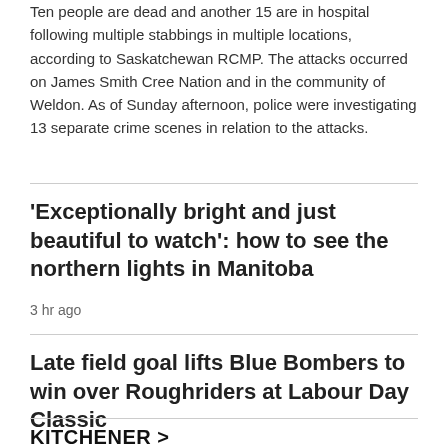Ten people are dead and another 15 are in hospital following multiple stabbings in multiple locations, according to Saskatchewan RCMP. The attacks occurred on James Smith Cree Nation and in the community of Weldon. As of Sunday afternoon, police were investigating 13 separate crime scenes in relation to the attacks.
'Exceptionally bright and just beautiful to watch': how to see the northern lights in Manitoba
3 hr ago
Late field goal lifts Blue Bombers to win over Roughriders at Labour Day Classic
KITCHENER >